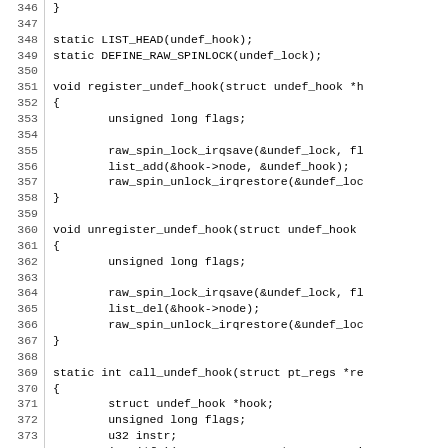[Figure (screenshot): Source code listing (C) showing lines 346-376 with line numbers on the left and code on the right. Contains static variable declarations, register_undef_hook, unregister_undef_hook, and call_undef_hook function definitions.]